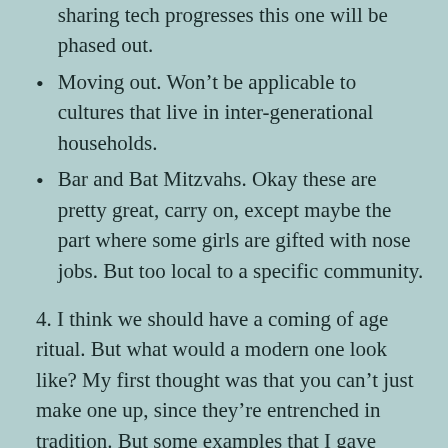sharing tech progresses this one will be phased out.
Moving out. Won't be applicable to cultures that live in inter-generational households.
Bar and Bat Mitzvahs. Okay these are pretty great, carry on, except maybe the part where some girls are gifted with nose jobs. But too local to a specific community.
4. I think we should have a coming of age ritual. But what would a modern one look like? My first thought was that you can't just make one up, since they're entrenched in tradition. But some examples that I gave aren't particularly ritualistic at all, and honestly, it doesn't take very long at all for traditions to get entrenched.